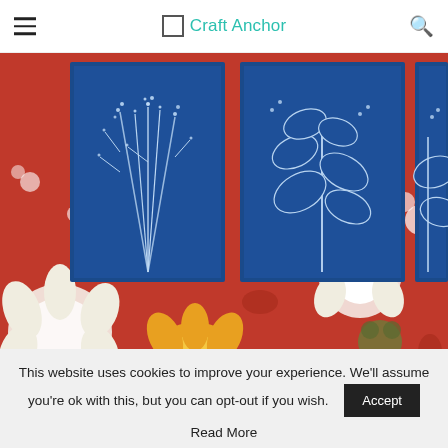Craft Anchor
[Figure (photo): Three cyanotype botanical prints (showing white plant silhouettes on dark blue backgrounds) mounted on a colorful retro-floral red, orange, white and olive green wallpaper/fabric.]
This website uses cookies to improve your experience. We'll assume you're ok with this, but you can opt-out if you wish.
Read More